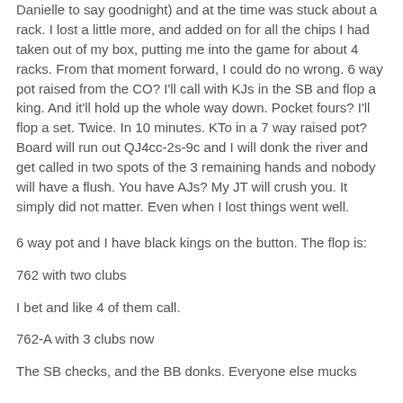Danielle to say goodnight) and at the time was stuck about a rack. I lost a little more, and added on for all the chips I had taken out of my box, putting me into the game for about 4 racks. From that moment forward, I could do no wrong. 6 way pot raised from the CO? I'll call with KJs in the SB and flop a king. And it'll hold up the whole way down. Pocket fours? I'll flop a set. Twice. In 10 minutes. KTo in a 7 way raised pot? Board will run out QJ4cc-2s-9c and I will donk the river and get called in two spots of the 3 remaining hands and nobody will have a flush. You have AJs? My JT will crush you. It simply did not matter. Even when I lost things went well.
6 way pot and I have black kings on the button. The flop is:
762 with two clubs
I bet and like 4 of them call.
762-A with 3 clubs now
The SB checks, and the BB donks. Everyone else mucks